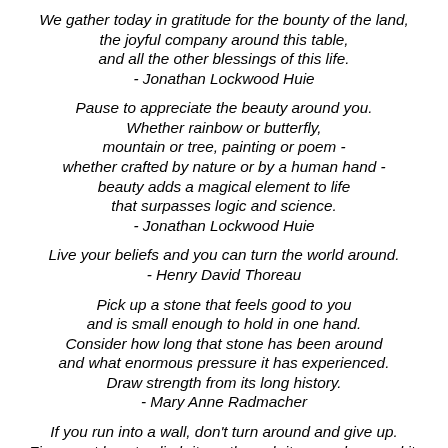We gather today in gratitude for the bounty of the land, the joyful company around this table, and all the other blessings of this life. - Jonathan Lockwood Huie
Pause to appreciate the beauty around you. Whether rainbow or butterfly, mountain or tree, painting or poem - whether crafted by nature or by a human hand - beauty adds a magical element to life that surpasses logic and science. - Jonathan Lockwood Huie
Live your beliefs and you can turn the world around. - Henry David Thoreau
Pick up a stone that feels good to you and is small enough to hold in one hand. Consider how long that stone has been around and what enormous pressure it has experienced. Draw strength from its long history. - Mary Anne Radmacher
If you run into a wall, don't turn around and give up. Figure out how to climb it, go through it, or work around it.